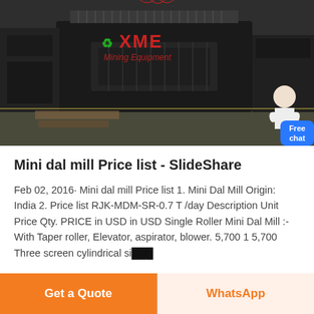[Figure (photo): Industrial dal mill / mining equipment machine photograph, dark industrial setting with heavy machinery visible. XME Mining Equipment logo watermark overlaid in red and green.]
Mini dal mill Price list - SlideShare
Feb 02, 2016· Mini dal mill Price list 1. Mini Dal Mill Origin: India 2. Price list RJK-MDM-SR-0.7 T /day Description Unit Price Qty. PRICE in USD in USD Single Roller Mini Dal Mill :- With Taper roller, Elevator, aspirator, blower. 5,700 1 5,700 Three screen cylindrical si